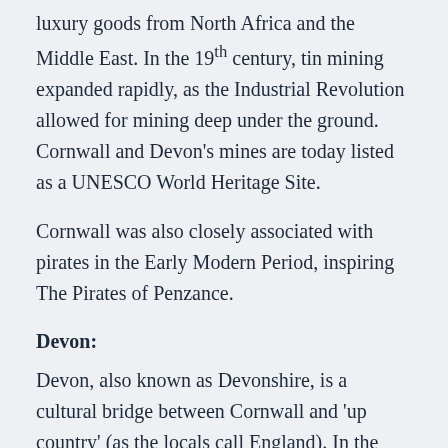luxury goods from North Africa and the Middle East. In the 19th century, tin mining expanded rapidly, as the Industrial Revolution allowed for mining deep under the ground. Cornwall and Devon's mines are today listed as a UNESCO World Heritage Site.
Cornwall was also closely associated with pirates in the Early Modern Period, inspiring The Pirates of Penzance.
Devon:
Devon, also known as Devonshire, is a cultural bridge between Cornwall and 'up country' (as the locals call England). In the Early Middle Ages, it was part of the Kingdom of Dumnonia, but unlike Cornwall, it was assimilated into Anglo-Saxon culture during the reign